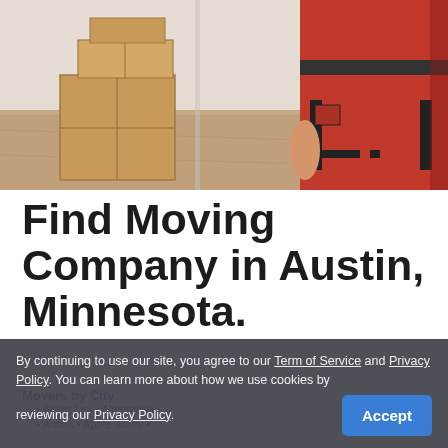[Figure (photo): A mover in red uniform pants standing next to cardboard boxes stacked on a hardwood floor.]
Find Moving Company in Austin, Minnesota.
Movers by City
Albert Lea • Alexandria •
Anoka • Apple Valley •
Bemidji • Blue • Bloomington •
By continuing to use our site, you agree to our Term of Service and Privacy Policy. You can learn more about how we use cookies by reviewing our Privacy Policy.
Accept